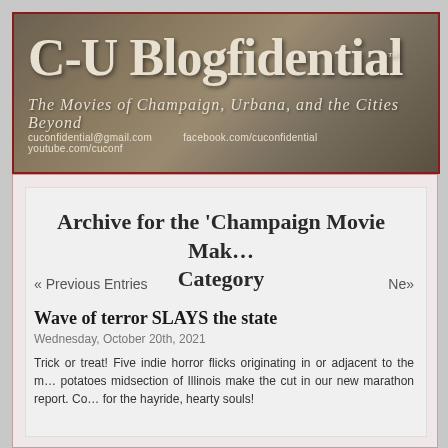[Figure (logo): C-U Blogfidential banner with textured stone/earth background. Title reads 'C-U Blogfidential' with subtitle 'The Movies of Champaign, Urbana, and the Cities Beyond'. Links: cuconfidential@gmail.com, facebook.com/cuconfidential, youtube.com/cuconf]
Archive for the 'Champaign Movie Makers' Category
« Previous Entries
Next
Wave of terror SLAYS the state
Wednesday, October 20th, 2021
Trick or treat! Five indie horror flicks originating in or adjacent to the mashed potatoes midsection of Illinois make the cut in our new marathon report. Come on in for the hayride, hearty souls!